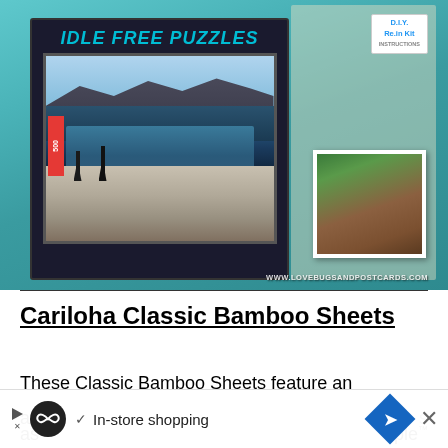[Figure (photo): Photo of puzzle box labeled 'IDLE FREE PUZZLES' with Peyto Lake image (500 pieces), next to a D.I.Y. Resin Kit and a small nature photo, all inside a teal gift box. Watermark: WWW.LOVEBUGSANDPOSTCARDS.COM]
Cariloha Classic Bamboo Sheets
These Classic Bamboo Sheets feature an
[Figure (other): Advertisement overlay: play icon, circular infinity-like logo, checkmark with 'In-store shopping' text, blue diamond navigation icon, and close X button]